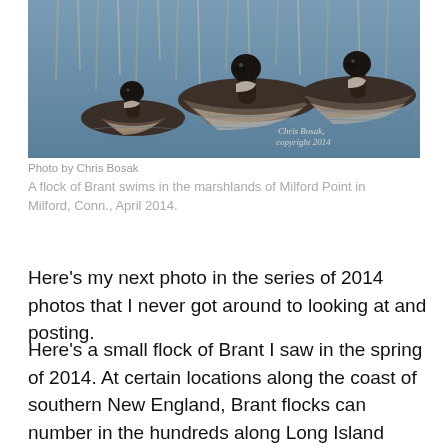[Figure (photo): A flock of Brant geese swimming on water, with reflections of trees visible. Photo watermark reads 'Chris Bosak, copyright 2014'.]
Photo by Chris Bosak
A flock of Brant swims in the marshlands of Milford Point in Milford, Conn., April 2014.
Here's my next photo in the series of 2014 photos that I never got around to looking at and posting.
Here's a small flock of Brant I saw in the spring of 2014. At certain locations along the coast of southern New England, Brant flocks can number in the hundreds along Long Island Sound. At Calf Pasture Beach in Norwalk,